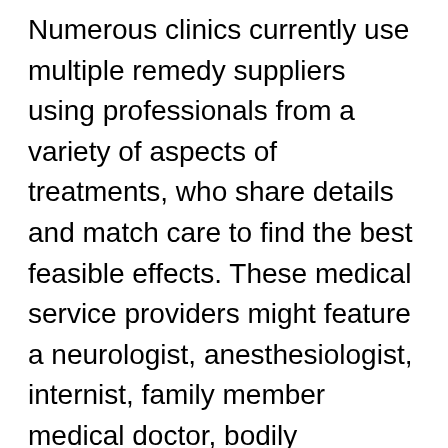Numerous clinics currently use multiple remedy suppliers using professionals from a variety of aspects of treatments, who share details and match care to find the best feasible effects. These medical service providers might feature a neurologist, anesthesiologist, internist, family member medical doctor, bodily medication expert, psychologist, psychiatrist and physical therapist.
Prescription drugs prescribed with a physician in the ache center software incorporate ache medicines, nonsteroidal anti-inflammatories (NSAID), steroids to reduce swelling, muscle